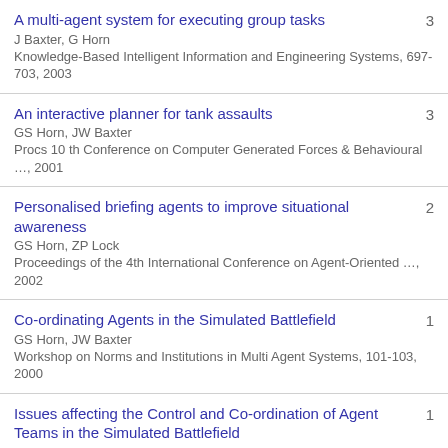A multi-agent system for executing group tasks
J Baxter, G Horn
Knowledge-Based Intelligent Information and Engineering Systems, 697-703, 2003
3
An interactive planner for tank assaults
GS Horn, JW Baxter
Procs 10 th Conference on Computer Generated Forces & Behavioural …, 2001
3
Personalised briefing agents to improve situational awareness
GS Horn, ZP Lock
Proceedings of the 4th International Conference on Agent-Oriented …, 2002
2
Co-ordinating Agents in the Simulated Battlefield
GS Horn, JW Baxter
Workshop on Norms and Institutions in Multi Agent Systems, 101-103, 2000
1
Issues affecting the Control and Co-ordination of Agent Teams in the Simulated Battlefield
GS Horn, JW Baxter
Proceedings of AAAI Workshop on Representational Issues
1